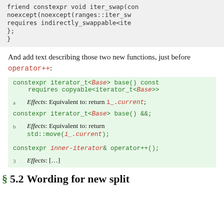friend constexpr void iter_swap(con
        noexcept(noexcept(ranges::iter_sw
        requires indirectly_swappable<ite
    };
}
And add text describing those two new functions, just before operator++:
constexpr iterator_t<Base> base() const
    requires copyable<iterator_t<Base>>
a  Effects: Equivalent to: return i_.current;
constexpr iterator_t<Base> base() &&;
b  Effects: Equivalent to: return std::move(i_.current);
constexpr inner-iterator& operator++();
3  Effects: [...]
§ 5.2  Wording for new split